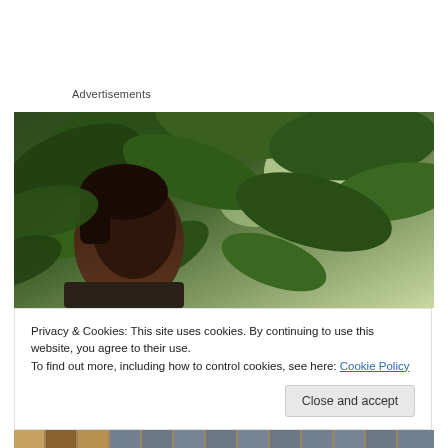Advertisements
[Figure (photo): Young woman with braided hair in profile view, surrounded by large green tropical leaves and foliage, with bright light filtering through the leaves]
Privacy & Cookies: This site uses cookies. By continuing to use this website, you agree to their use.
To find out more, including how to control cookies, see here: Cookie Policy
Close and accept
[Figure (photo): Partial view of a second photo at the bottom of the page showing colorful striped fabric or awning]